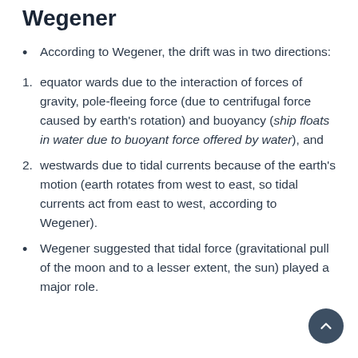Wegener
According to Wegener, the drift was in two directions:
equator wards due to the interaction of forces of gravity, pole-fleeing force (due to centrifugal force caused by earth's rotation) and buoyancy (ship floats in water due to buoyant force offered by water), and
westwards due to tidal currents because of the earth's motion (earth rotates from west to east, so tidal currents act from east to west, according to Wegener).
Wegener suggested that tidal force (gravitational pull of the moon and to a lesser extent, the sun) played a major role.